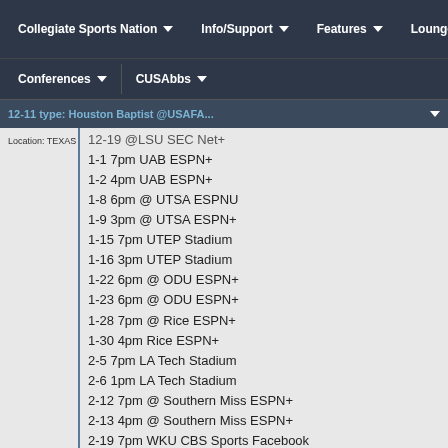Collegiate Sports Nation | Info/Support | Features | Lounge | Conferences | CUSAbbs
Location: TEXAS
12-19 @LSU SEC Net+
1-1 7pm UAB ESPN+
1-2 4pm UAB ESPN+
1-8 6pm @ UTSA ESPNU
1-9 3pm @ UTSA ESPN+
1-15 7pm UTEP Stadium
1-16 3pm UTEP Stadium
1-22 6pm @ ODU ESPN+
1-23 6pm @ ODU ESPN+
1-28 7pm @ Rice ESPN+
1-30 4pm Rice ESPN+
2-5 7pm LA Tech Stadium
2-6 1pm LA Tech Stadium
2-12 7pm @ Southern Miss ESPN+
2-13 4pm @ Southern Miss ESPN+
2-19 7pm WKU CBS Sports Facebook
2-20 4pm WKU CBS Sports Facebook
2-26 6pm @ Marshall ESPNU
2-27 1pm @ Marshall Stadium
https://conferenceusa.com/news/2020/11/2...e
(This post was last modified: 11-24-2020 04:26 PM by